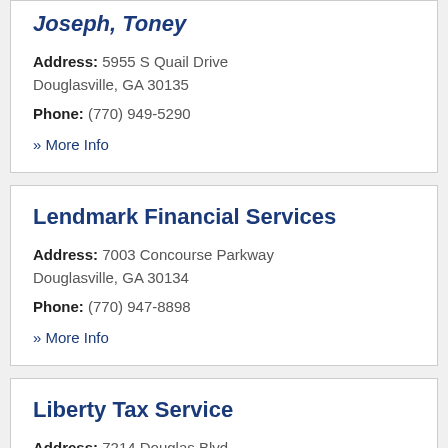Joseph, Toney
Address: 5955 S Quail Drive Douglasville, GA 30135
Phone: (770) 949-5290
» More Info
Lendmark Financial Services
Address: 7003 Concourse Parkway Douglasville, GA 30134
Phone: (770) 947-8898
» More Info
Liberty Tax Service
Address: 7214 Douglas Blvd